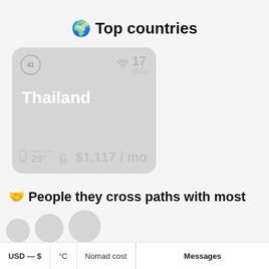🌍 Top countries
[Figure (infographic): Country card for Thailand showing rank #41, WiFi speed 17 Mbps, temperature 29°C, AQI 34, cost $1,117 / mo]
🤝 People they cross paths with most
USD — $   °C   Nomad cost   Messages